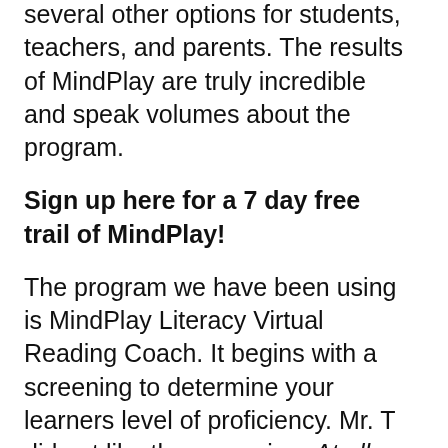several other options for students, teachers, and parents. The results of MindPlay are truly incredible and speak volumes about the program.
Sign up here for a 7 day free trail of MindPlay!
The program we have been using is MindPlay Literacy Virtual Reading Coach. It begins with a screening to determine your learners level of proficiency. Mr. T did not like the screening. At all. Then the month flipped two days later and he had to do it again. That was a fluke, as their system was set to give an “end of year” benchmark test.
Normally there is the initial screening, then a pre and post-test for each section, a progress...